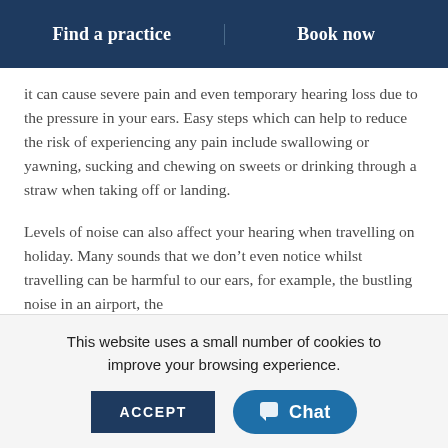Find a practice | Book now
it can cause severe pain and even temporary hearing loss due to the pressure in your ears. Easy steps which can help to reduce the risk of experiencing any pain include swallowing or yawning, sucking and chewing on sweets or drinking through a straw when taking off or landing.
Levels of noise can also affect your hearing when travelling on holiday. Many sounds that we don't even notice whilst travelling can be harmful to our ears, for example, the bustling noise in an airport, the
This website uses a small number of cookies to improve your browsing experience.